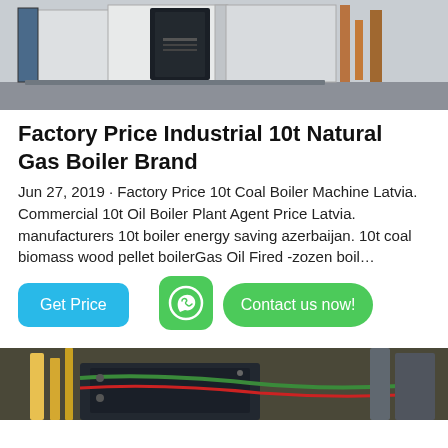[Figure (photo): Industrial gas boiler equipment in a factory/warehouse setting, showing large white/grey boiler units on a concrete floor.]
Factory Price Industrial 10t Natural Gas Boiler Brand
Jun 27, 2019 · Factory Price 10t Coal Boiler Machine Latvia. Commercial 10t Oil Boiler Plant Agent Price Latvia. manufacturers 10t boiler energy saving azerbaijan. 10t coal biomass wood pellet boilerGas Oil Fired -zozen boil…
[Figure (other): Get Price button (blue rounded rectangle), WhatsApp icon (green rounded square with phone icon), Contact us now! button (green rounded pill)]
[Figure (photo): Partial view of industrial boiler machinery with yellow pipes and green/red cables visible from below.]